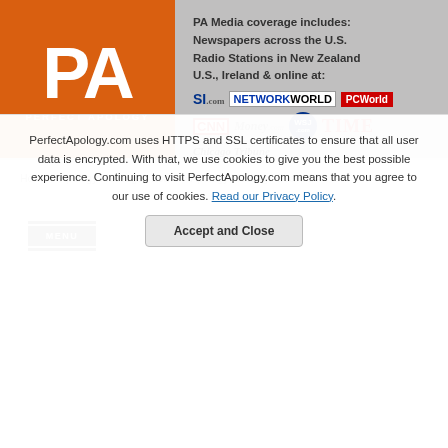[Figure (logo): Perfect Apology logo - orange square with white PA letters and PERFECT APOLOGY text below, alongside media coverage text and partner logos including SI.com, NetworkWorld, PCWorld, CNNMoney, WSJ, TIME, Chicago Tribune]
Home > Apology Messages Board > Apology Message Board 14
[Figure (other): MENU button - dark hamburger menu icon with three horizontal bars and MENU label]
PerfectApology.com uses HTTPS and SSL certificates to ensure that all user data is encrypted. With that, we use cookies to give you the best possible experience. Continuing to visit PerfectApology.com means that you agree to our use of cookies. Read our Privacy Policy.
Accept and Close